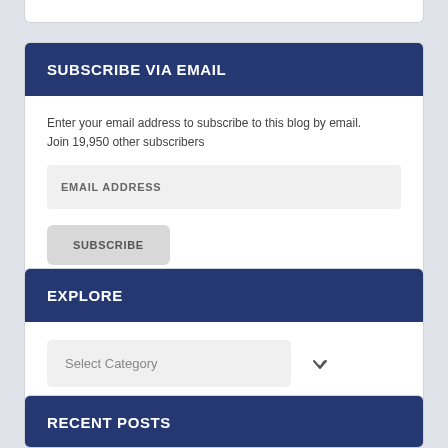SUBSCRIBE VIA EMAIL
Enter your email address to subscribe to this blog by email. Join 19,950 other subscribers
EMAIL ADDRESS
SUBSCRIBE
EXPLORE
Select Category
RECENT POSTS